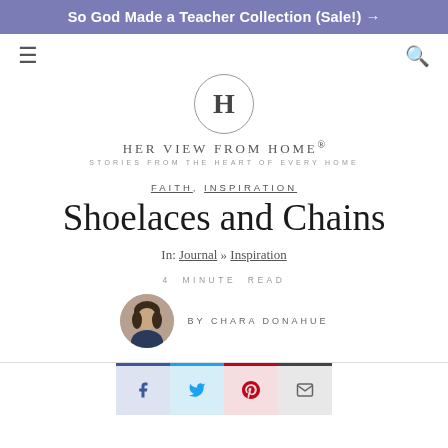So God Made a Teacher Collection (Sale!) →
[Figure (logo): Her View From Home logo with circle H monogram, site name and tagline 'Stories from the heart of every home']
FAITH, INSPIRATION
Shoelaces and Chains
In: Journal » Inspiration
4 MINUTE READ
BY CHARA DONAHUE
[Figure (photo): Circular author photo of Chara Donahue]
[Figure (infographic): Social share buttons: Facebook (blue), Twitter (light blue), Pinterest (pink/red), Email (gray)]